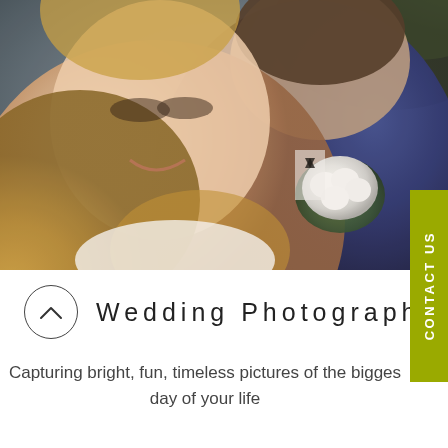[Figure (photo): Close-up wedding photo of a smiling bride leaning against the groom who is kissing her on the temple. Bride has long blonde hair and wears an off-shoulder white dress. Groom wears a navy blue suit with a white boutonnière flower with green leaves.]
Wedding Photography
Capturing bright, fun, timeless pictures of the biggest day of your life